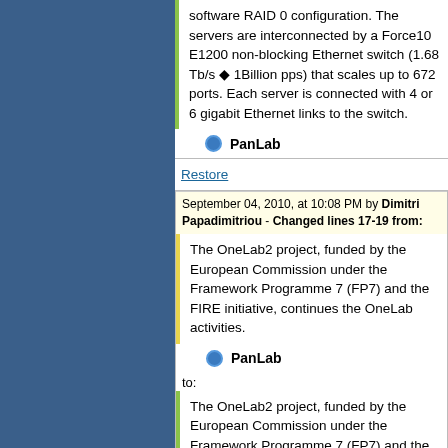software RAID 0 configuration. The servers are interconnected by a Force10 E1200 non-blocking Ethernet switch (1.68 Tb/s ◆ 1Billion pps) that scales up to 672 ports. Each server is connected with 4 or 6 gigabit Ethernet links to the switch.
PanLab
Restore
September 04, 2010, at 10:08 PM by Dimitri Papadimitriou - Changed lines 17-19 from:
The OneLab2 project, funded by the European Commission under the Framework Programme 7 (FP7) and the FIRE initiative, continues the OneLab activities.
PanLab
to:
The OneLab2 project, funded by the European Commission under the Framework Programme 7 (FP7) and the FIRE initiative, continues the OneLab activities.
PanLab